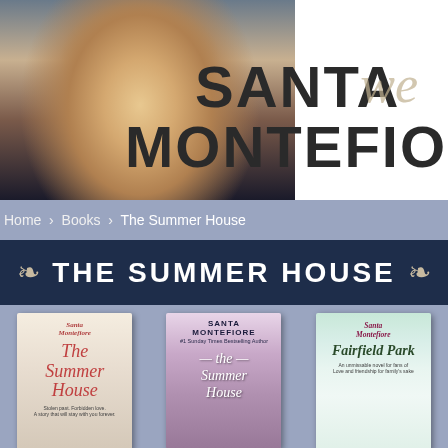[Figure (photo): Author photo of Santa Montefiore, a blonde woman smiling, wearing a floral top, with 'SANTA MONTEFIORE' text overlay in large bold letters and a cursive script element]
Home › Books › The Summer House
THE SUMMER HOUSE
[Figure (photo): Three book covers displayed side by side: 'The Summer House' UK edition by Santa Montefiore (left), 'The Summer House' US edition by Santa Montefiore (center), and 'Fairfield Park' by Santa Montefiore (right)]